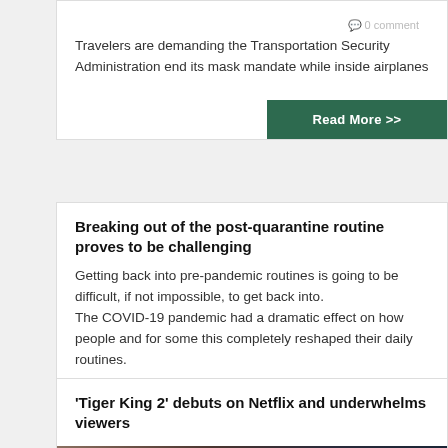0 comment
Travelers are demanding the Transportation Security Administration end its mask mandate while inside airplanes
Read More >>
Breaking out of the post-quarantine routine proves to be challenging
Getting back into pre-pandemic routines is going to be difficult, if not impossible, to get back into. The COVID-19 pandemic had a dramatic effect on how people and for some this completely reshaped their daily routines.
April 3, 2022
Read More >>
'Tiger King 2' debuts on Netflix and underwhelms viewers
[Figure (photo): Photo of a person with dark hair, partial view, muted tones]